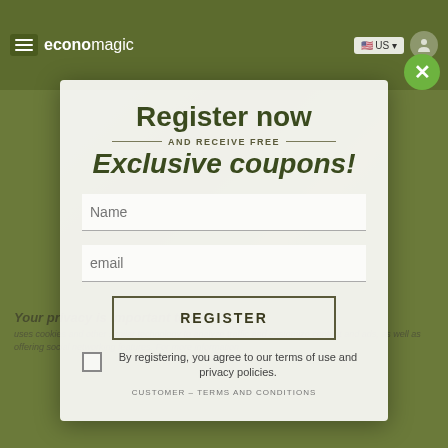[Figure (screenshot): Website header/navigation bar with hamburger menu, economagic logo, US flag dropdown, and user icon on olive/green background]
Register now
— AND RECEIVE FREE —
Exclusive coupons!
Name
email
REGISTER
By registering, you agree to our terms of use and privacy policies.
CUSTOMER – TERMS AND CONDITIONS